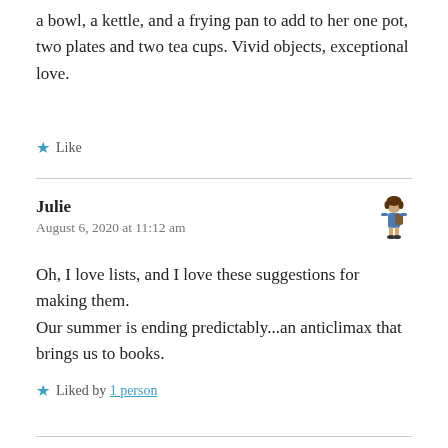a bowl, a kettle, and a frying pan to add to her one pot, two plates and two tea cups. Vivid objects, exceptional love.
★ Like
Julie
August 6, 2020 at 11:12 am
Oh, I love lists, and I love these suggestions for making them.
Our summer is ending predictably...an anticlimax that brings us to books.
★ Liked by 1 person